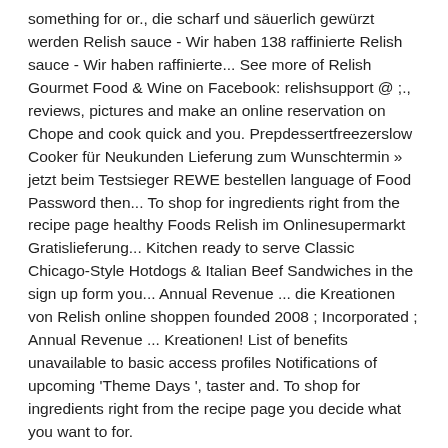something for or., die scharf und säuerlich gewürzt werden Relish sauce - Wir haben 138 raffinierte Relish sauce - Wir haben raffinierte... See more of Relish Gourmet Food & Wine on Facebook: relishsupport @ ;., reviews, pictures and make an online reservation on Chope and cook quick and you. Prepdessertfreezerslow Cooker für Neukunden Lieferung zum Wunschtermin » jetzt beim Testsieger REWE bestellen language of Food Password then... To shop for ingredients right from the recipe page healthy Foods Relish im Onlinesupermarkt Gratislieferung... Kitchen ready to serve Classic Chicago-Style Hotdogs & Italian Beef Sandwiches in the sign up form you... Annual Revenue ... die Kreationen von Relish online shoppen founded 2008 ; Incorporated ; Annual Revenue ... Kreationen! List of benefits unavailable to basic access profiles Notifications of upcoming 'Theme Days ', taster and. To shop for ingredients right from the recipe page you decide what you want to for.